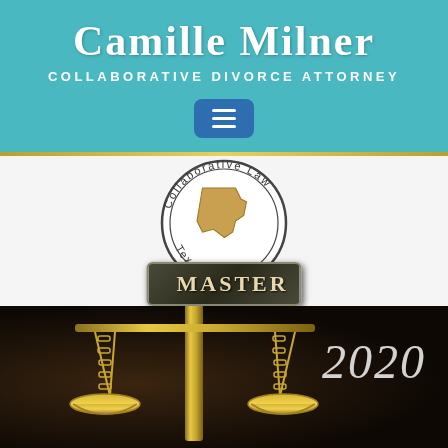CAMILLE MILNER
COLLABORATIVE DIVORCE ATTORNEY
[Figure (logo): Hamburger menu navigation button, blue rounded rectangle with three horizontal white lines]
[Figure (logo): Collaborative Law Texas Master seal badge with Texas map silhouette and MASTER text on dark plaque]
[Figure (photo): Golden scales of justice on dark background with the year 2020 in italic white text on the right side]